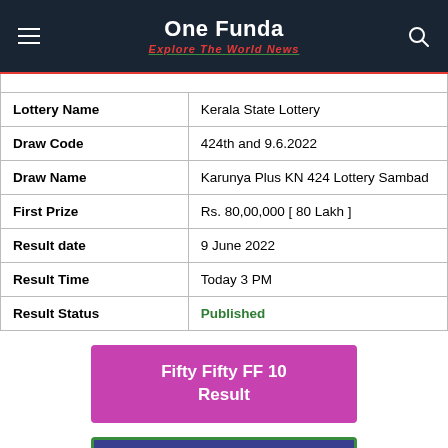One Funda — Explore The World News
| Field | Value |
| --- | --- |
| Lottery Name | Kerala State Lottery |
| Draw Code | 424th and 9.6.2022 |
| Draw Name | Karunya Plus KN 424 Lottery Sambad |
| First Prize | Rs. 80,00,000 [ 80 Lakh ] |
| Result date | 9 June 2022 |
| Result Time | Today 3 PM |
| Result Status | Published |
Fifty Fifty FF 10 Result
Kerala Lottery Result